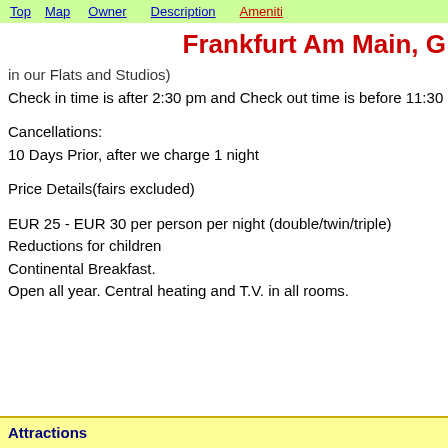Top  Map  Owner  Description  Ameniti
Frankfurt Am Main, G
in our Flats and Studios)
Check in time is after 2:30 pm and Check out time is before 11:30 a
Cancellations:
10 Days Prior, after we charge 1 night
Price Details(fairs excluded)
EUR 25 - EUR 30 per person per night (double/twin/triple)
Reductions for children
Continental Breakfast.
Open all year. Central heating and T.V. in all rooms.
Attractions